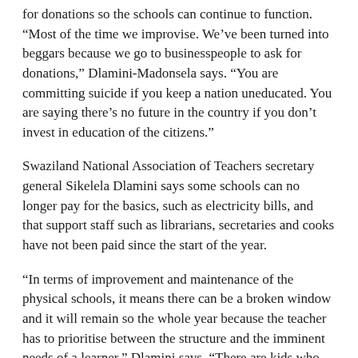for donations so the schools can continue to function. “Most of the time we improvise. We’ve been turned into beggars because we go to businesspeople to ask for donations,” Dlamini-Madonsela says. “You are committing suicide if you keep a nation uneducated. You are saying there’s no future in the country if you don’t invest in education of the citizens.”
Swaziland National Association of Teachers secretary general Sikelela Dlamini says some schools can no longer pay for the basics, such as electricity bills, and that support staff such as librarians, secretaries and cooks have not been paid since the start of the year.
“In terms of improvement and maintenance of the physical schools, it means there can be a broken window and it will remain so the whole year because the teacher has to prioritise between the structure and the imminent needs of a learner,” Dlamini says. “There are kids who normally have their first and last meal at school. This means that the teacher has to make sure there’s food to be eaten by the kids. The situation is bad.”
Teachers and other stakeholders worry that the quality of education in the country has dwindled significantly.
“Swaziland was ranked as one of the highest in terms of